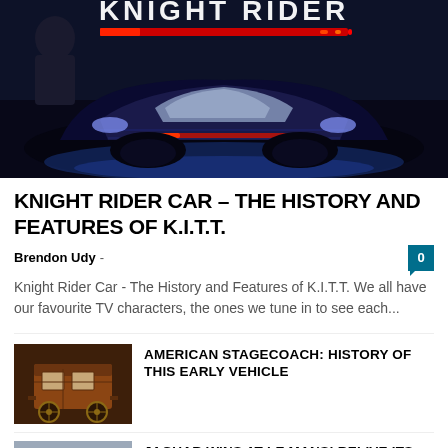[Figure (photo): Knight Rider TV show promotional image with dark car against black background with red LED scanner bar and 'KNIGHT RIDER' text at top]
KNIGHT RIDER CAR – THE HISTORY AND FEATURES OF K.I.T.T.
Brendon Udy -
Knight Rider Car - The History and Features of K.I.T.T. We all have our favourite TV characters, the ones we tune in to see each...
AMERICAN STAGECOACH: HISTORY OF THIS EARLY VEHICLE
JAGUAR WINS AT LE MANS! RELIVE ITS GLORIOUS